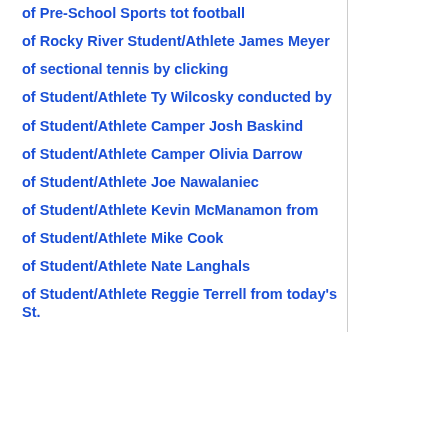of Pre-School Sports tot football
of Rocky River Student/Athlete James Meyer
of sectional tennis by clicking
of Student/Athlete Ty Wilcosky conducted by
of Student/Athlete Camper Josh Baskind
of Student/Athlete Camper Olivia Darrow
of Student/Athlete Joe Nawalaniec
of Student/Athlete Kevin McManamon from
of Student/Athlete Mike Cook
of Student/Athlete Nate Langhals
of Student/Athlete Reggie Terrell from today's St.